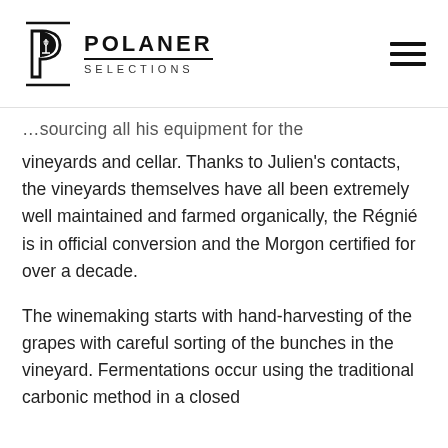POLANER SELECTIONS
…sourcing all his equipment for the vineyards and cellar. Thanks to Julien's contacts, the vineyards themselves have all been extremely well maintained and farmed organically, the Régnié is in official conversion and the Morgon certified for over a decade.
The winemaking starts with hand-harvesting of the grapes with careful sorting of the bunches in the vineyard. Fermentations occur using the traditional carbonic method in a closed…